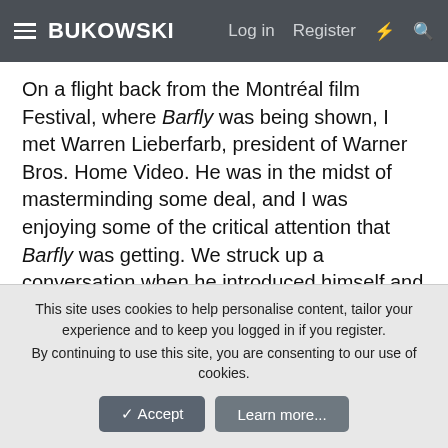BUKOWSKI  Log in  Register
On a flight back from the Montréal film Festival, where Barfly was being shown, I met Warren Lieberfarb, president of Warner Bros. Home Video. He was in the midst of masterminding some deal, and I was enjoying some of the critical attention that Barfly was getting. We struck up a conversation when he introduced himself and told me he had loved me since Network. Warren was to become the next important man in my life
After Barfly, which remains one of my favorite films, I tried to be careful about the roles I choose, and within each role, I would always look for the softer side. But I was also faced with the reality that I had to work. I had to support myself and
This site uses cookies to help personalise content, tailor your experience and to keep you logged in if you register.
By continuing to use this site, you are consenting to our use of cookies.